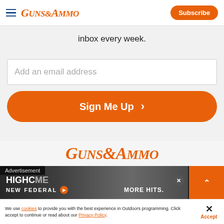Guns & Ammo — Subscribe
inbox every week.
Add an email address
Sign Me Up >
[Figure (logo): Guns & Ammo logo in orange italic serif font]
[Figure (screenshot): Advertisement banner: NEW FEDERAL with logo circle, MORE HITS. text, orange box with arrow]
We use cookies to provide you with the best experience in Outdoors programming. Click accept to continue or read about our Privacy Policy.